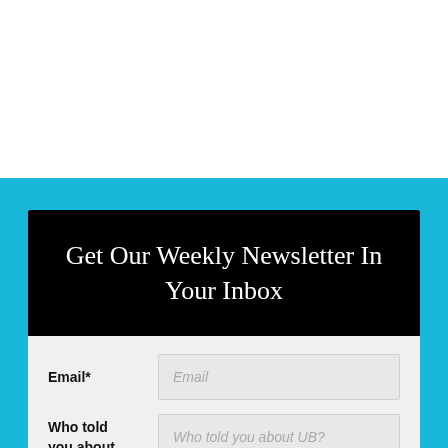Get Our Weekly Newsletter In Your Inbox
Email*
Who told you about